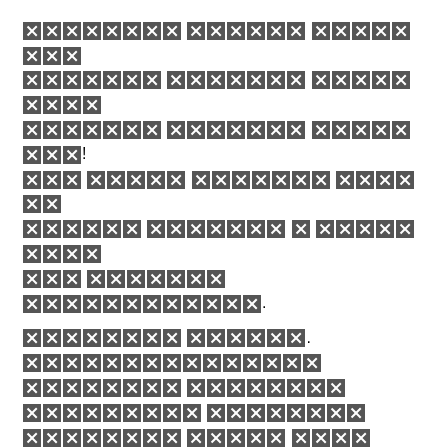[redacted text block 1 - paragraph 1]
[redacted text block 2 - paragraph 2]
[redacted text block 3 - italic paragraph]